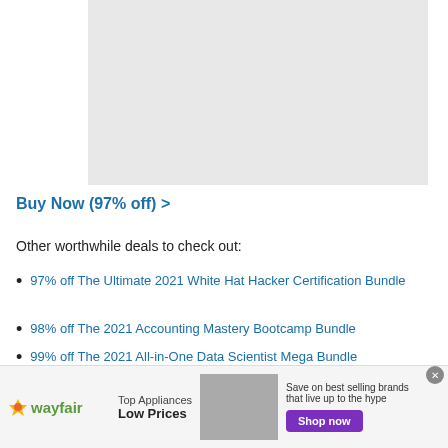[Figure (other): Gray placeholder image box for a product or course thumbnail]
Buy Now (97% off) >
Other worthwhile deals to check out:
97% off The Ultimate 2021 White Hat Hacker Certification Bundle
98% off The 2021 Accounting Mastery Bootcamp Bundle
99% off The 2021 All-in-One Data Scientist Mega Bundle
59% off XSplit VCam: Lifetime Subscription (Windows)
[Figure (other): Wayfair advertisement banner: Top Appliances Low Prices, Save on best selling brands that live up to the hype, Shop now button]